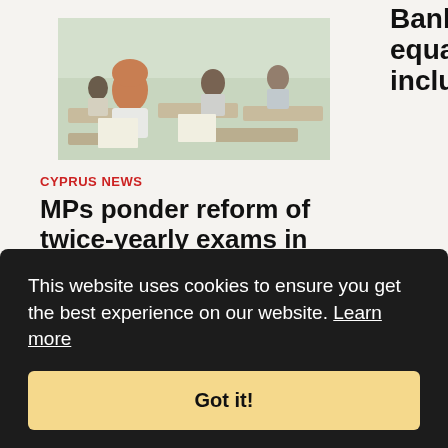[Figure (photo): Students sitting at desks in a classroom taking exams, one female student with red hair in foreground writing]
CYPRUS NEWS
MPs ponder reform of twice-yearly exams in schools
The embattled twice-yearly exams
Cyprus Central Bank signs European equality, diversity, and inclusion charter
The Central Bank of Cyprus (CBC) has signed the European System of Central Banks equality, diversity, and Inclusion Charter. The mission of the charter, according to a press release by the CBC is to
This website uses cookies to ensure you get the best experience on our website. Learn more
Got it!